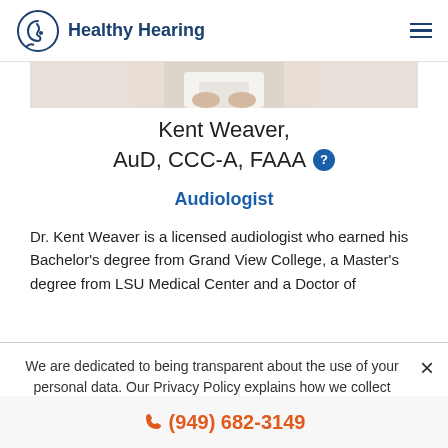Healthy Hearing
[Figure (photo): Partial photo of a person in white coat, cropped at top]
Kent Weaver, AuD, CCC-A, FAAA
Audiologist
Dr. Kent Weaver is a licensed audiologist who earned his Bachelor's degree from Grand View College, a Master's degree from LSU Medical Center and a Doctor of
We are dedicated to being transparent about the use of your personal data. Our Privacy Policy explains how we collect your personal information to customize your browsing experience. Read more.
(949) 682-3149